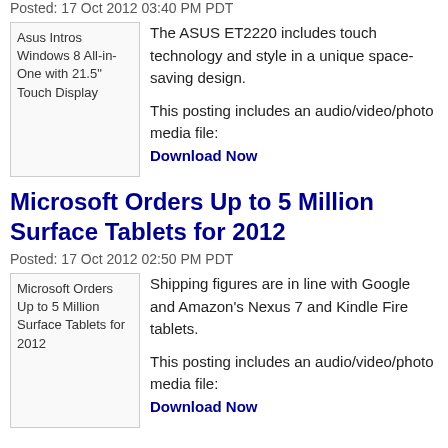Posted: 17 Oct 2012 03:40 PM PDT
[Figure (photo): Asus Intros Windows 8 All-in-One with 21.5" Touch Display thumbnail image]
The ASUS ET2220 includes touch technology and style in a unique space-saving design.

This posting includes an audio/video/photo media file: Download Now
Microsoft Orders Up to 5 Million Surface Tablets for 2012
Posted: 17 Oct 2012 02:50 PM PDT
[Figure (photo): Microsoft Orders Up to 5 Million Surface Tablets for 2012 thumbnail image]
Shipping figures are in line with Google and Amazon's Nexus 7 and Kindle Fire tablets.

This posting includes an audio/video/photo media file: Download Now